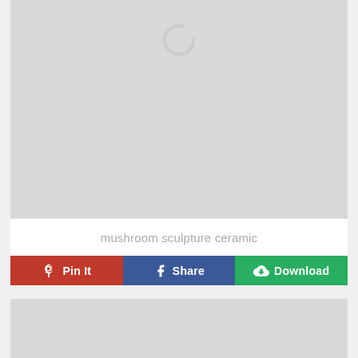[Figure (screenshot): Loading placeholder image area with a spinner icon on a light gray background]
mushroom sculpture ceramic
[Figure (screenshot): Three social/action buttons: Pin It (red, Pinterest), Share (blue, Facebook), Download (green, download icon)]
[Figure (screenshot): Second image placeholder area, light gray background, partially visible]